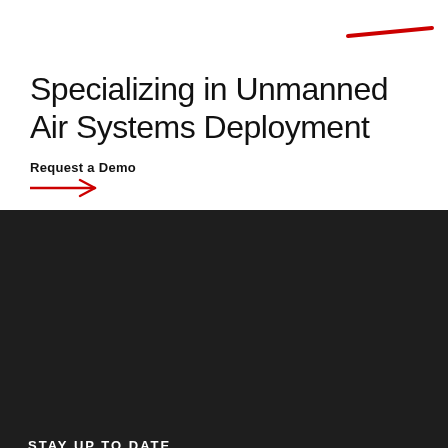[Figure (other): Red horizontal decorative line in upper right corner]
Specializing in Unmanned Air Systems Deployment
Request a Demo
STAY UP TO DATE
Sign Up
© 2022 Archer Unmanned Air Systems. All rights reserved. Site Design by SIX The Agency.
Privacy Policy